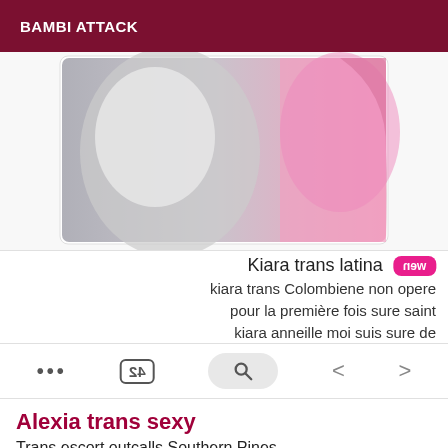BAMBI ATTACK
[Figure (photo): Partial photo showing pink and grey/white tones, appears to be a person in pink clothing, cropped]
Kiara trans latina new
kiara trans Colombiene non opere pour la première fois sure saint kiara anneille moi suis sure de
[Figure (screenshot): Browser toolbar with navigation icons: three dots, page number 24, search button, back arrow, forward arrow]
Alexia trans sexy
Trans escort outcalls Southern Pines
hello I am alexia uma trans latina colombiana I am very sexy and very pretty of bell potrine natural I propose you complete mássaje and service to active rider pasif